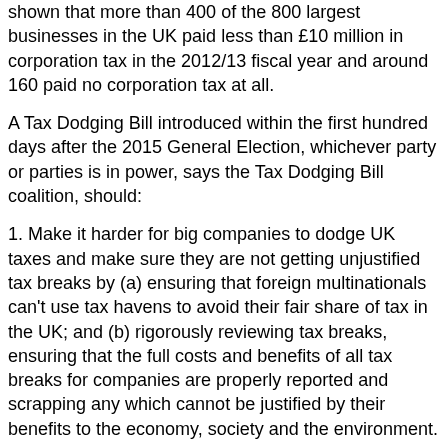shown that more than 400 of the 800 largest businesses in the UK paid less than £10 million in corporation tax in the 2012/13 fiscal year and around 160 paid no corporation tax at all.
A Tax Dodging Bill introduced within the first hundred days after the 2015 General Election, whichever party or parties is in power, says the Tax Dodging Bill coalition, should:
1. Make it harder for big companies to dodge UK taxes and make sure they are not getting unjustified tax breaks by (a) ensuring that foreign multinationals can't use tax havens to avoid their fair share of tax in the UK; and (b) rigorously reviewing tax breaks, ensuring that the full costs and benefits of all tax breaks for companies are properly reported and scrapping any which cannot be justified by their benefits to the economy, society and the environment.
2. Ensure UK tax rules do not incentivise UK companies